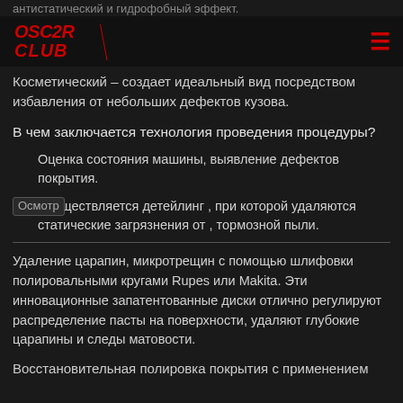антистатический и гидрофобный эффект.
OSC2R CLUB
Косметический – создает идеальный вид посредством избавления от небольших дефектов кузова.
В чем заключается технология проведения процедуры?
Оценка состояния машины, выявление дефектов покрытия.
Осуществляется детейлинг , при которой удаляются статические загрязнения от , тормозной пыли.
Удаление царапин, микротрещин с помощью шлифовки полировальными кругами Rupes или Makita. Эти инновационные запатентованные диски отлично регулируют распределение пасты на поверхности, удаляют глубокие царапины и следы матовости.
Восстановительная полировка покрытия с применением